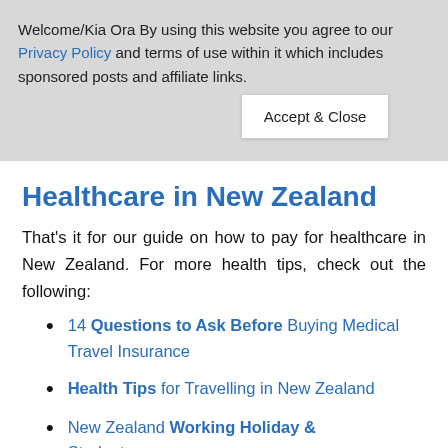Welcome/Kia Ora By using this website you agree to our Privacy Policy and terms of use within it which includes sponsored posts and affiliate links.
Accept & Close
Healthcare in New Zealand
That's it for our guide on how to pay for healthcare in New Zealand. For more health tips, check out the following:
14 Questions to Ask Before Buying Medical Travel Insurance
Health Tips for Travelling in New Zealand
New Zealand Working Holiday & Student... Full Guide